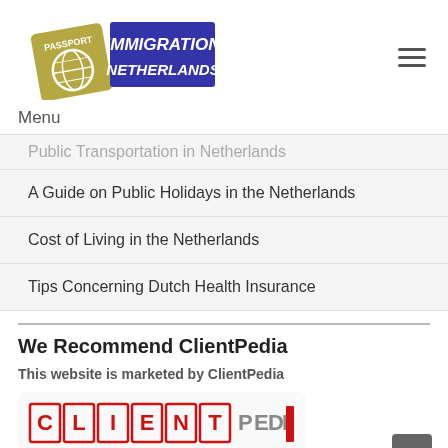[Figure (logo): Immigration Netherlands logo with passport icon and blue banner with white italic text]
Menu
Public Transportation in Netherlands
A Guide on Public Holidays in the Netherlands
Cost of Living in the Netherlands
Tips Concerning Dutch Health Insurance
We Recommend ClientPedia
This website is marketed by ClientPedia
[Figure (logo): ClientPedia logo in red and gray]